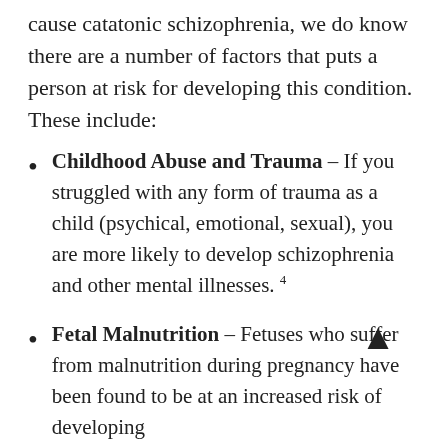cause catatonic schizophrenia, we do know there are a number of factors that puts a person at risk for developing this condition. These include:
Childhood Abuse and Trauma – If you struggled with any form of trauma as a child (psychical, emotional, sexual), you are more likely to develop schizophrenia and other mental illnesses. 4
Fetal Malnutrition – Fetuses who suffer from malnutrition during pregnancy have been found to be at an increased risk of developing